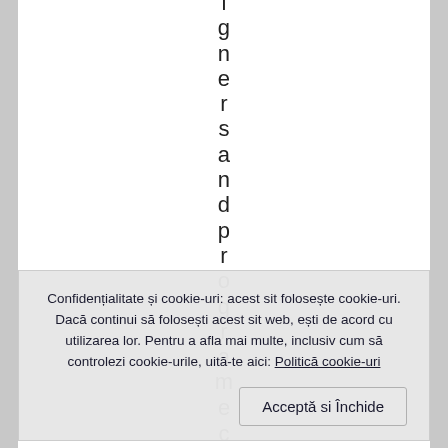l g n e r s a n d p r o g r a m
Confidențialitate și cookie-uri: acest sit folosește cookie-uri. Dacă continui să folosești acest sit web, ești de acord cu utilizarea lor. Pentru a afla mai multe, inclusiv cum să controlezi cookie-urile, uită-te aici: Politică cookie-uri
Acceptă si Închide
e c